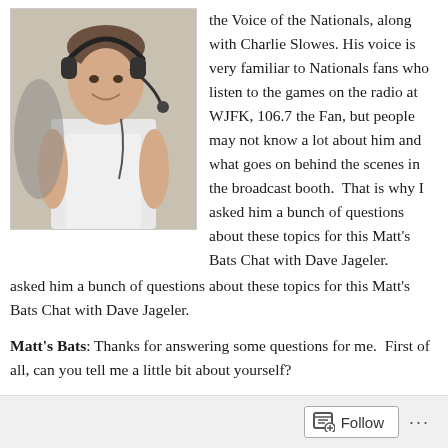[Figure (photo): A man wearing a headset microphone, smiling, dressed in a white t-shirt, seated in what appears to be a broadcast booth setting.]
the Voice of the Nationals, along with Charlie Slowes. His voice is very familiar to Nationals fans who listen to the games on the radio at WJFK, 106.7 the Fan, but people may not know a lot about him and what goes on behind the scenes in the broadcast booth. That is why I asked him a bunch of questions about these topics for this Matt's Bats Chat with Dave Jageler.
Matt's Bats: Thanks for answering some questions for me. First of all, can you tell me a little bit about yourself?